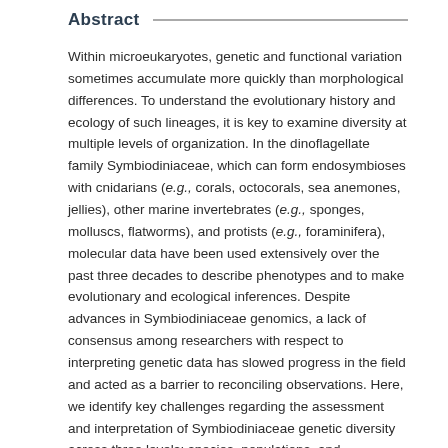Abstract
Within microeukaryotes, genetic and functional variation sometimes accumulate more quickly than morphological differences. To understand the evolutionary history and ecology of such lineages, it is key to examine diversity at multiple levels of organization. In the dinoflagellate family Symbiodiniaceae, which can form endosymbioses with cnidarians (e.g., corals, octocorals, sea anemones, jellies), other marine invertebrates (e.g., sponges, molluscs, flatworms), and protists (e.g., foraminifera), molecular data have been used extensively over the past three decades to describe phenotypes and to make evolutionary and ecological inferences. Despite advances in Symbiodiniaceae genomics, a lack of consensus among researchers with respect to interpreting genetic data has slowed progress in the field and acted as a barrier to reconciling observations. Here, we identify key challenges regarding the assessment and interpretation of Symbiodiniaceae genetic diversity across three levels: species, populations, and communities. We summarize areas of agreement and highlight techniques and approaches that are broadly accepted. In areas where debate remains, we identify unresolved issues and discuss